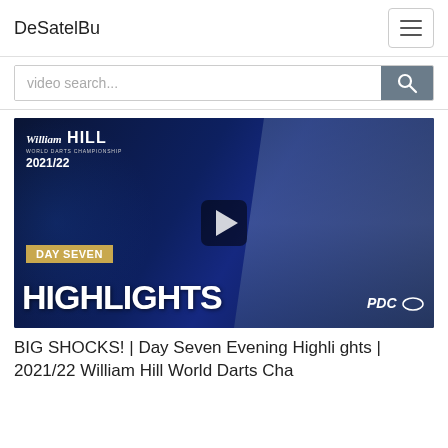DeSatelBu
video search...
[Figure (screenshot): Video thumbnail for William Hill World Darts Championship 2021/22 Day Seven Highlights. Shows a darts player celebrating with mouth open, wearing a grey jersey with BULL'S and ELTEN logos. Overlay text reads 'DAY SEVEN' on a gold banner and 'HIGHLIGHTS' in large white bold text. William Hill and PDC logos visible.]
BIG SHOCKS! | Day Seven Evening Highlights | 2021/22 William Hill World Darts Cha